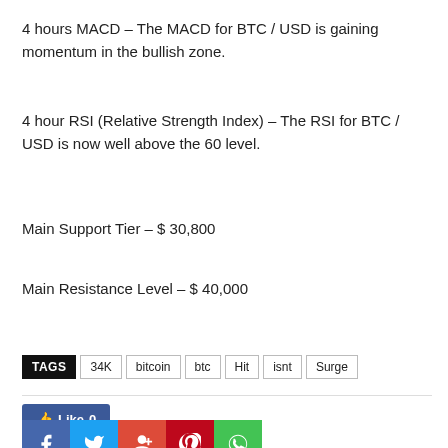4 hours MACD – The MACD for BTC / USD is gaining momentum in the bullish zone.
4 hour RSI (Relative Strength Index) – The RSI for BTC / USD is now well above the 60 level.
Main Support Tier – $ 30,800
Main Resistance Level – $ 40,000
TAGS: 34K  bitcoin  btc  Hit  isnt  Surge
Like 0
[Figure (other): Social sharing buttons: Facebook, Twitter, Google+, Pinterest, WhatsApp]